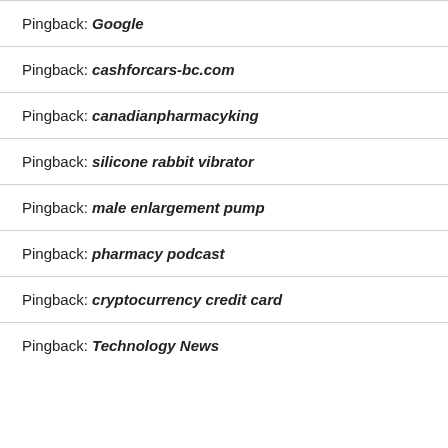Pingback: Google
Pingback: cashforcars-bc.com
Pingback: canadianpharmacyking
Pingback: silicone rabbit vibrator
Pingback: male enlargement pump
Pingback: pharmacy podcast
Pingback: cryptocurrency credit card
Pingback: Technology News